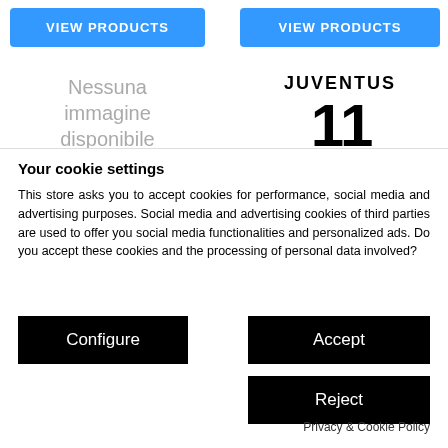[Figure (screenshot): Blue VIEW PRODUCTS button on left side]
[Figure (screenshot): Blue VIEW PRODUCTS button on right side]
[Figure (illustration): No image placeholder with text 'Nessuna immagine disponibile' in grey]
[Figure (photo): Juventus jersey with number 11 and JUVENTUS text]
Your cookie settings
This store asks you to accept cookies for performance, social media and advertising purposes. Social media and advertising cookies of third parties are used to offer you social media functionalities and personalized ads. Do you accept these cookies and the processing of personal data involved?
Configure
Accept
Reject
Privacy & Cookie Policy